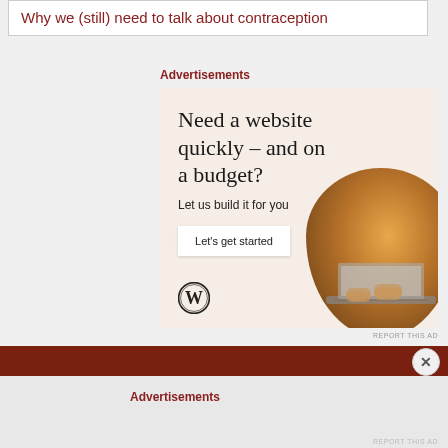Why we (still) need to talk about contraception
Advertisements
[Figure (illustration): Advertisement banner with peach background: headline 'Need a website quickly – and on a budget?', subtext 'Let us build it for you', a 'Let's get started' button, WordPress logo, and circular photo of person's hands typing on laptop.]
REPORT THIS AD
Advertisements
REPORT THIS AD